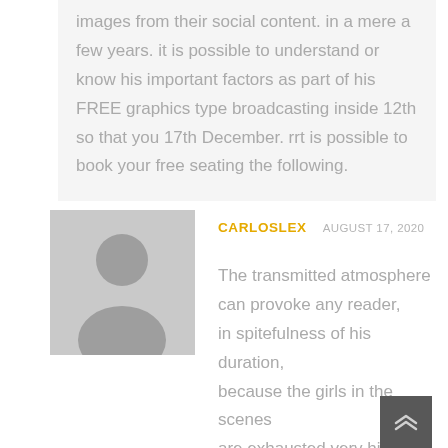images from their social content. in a mere a few years. it is possible to understand or know his important factors as part of his FREE graphics type broadcasting inside 12th so that you 17th December. rrt is possible to book your free seating the following.
[Figure (illustration): Gray user avatar silhouette placeholder image]
CARLOSLEX  AUGUST 17, 2020
The transmitted atmosphere can provoke any reader, in spitefulness of his duration, because the girls in the scenes are exhausted very high status, they will carry you a enormous numbers of pleasure.